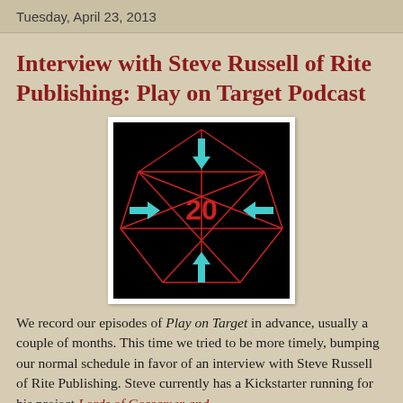Tuesday, April 23, 2013
Interview with Steve Russell of Rite Publishing: Play on Target Podcast
[Figure (logo): Black square image with a red icosahedron (d20 shape) outline and cyan/teal arrows pointing inward toward a red '20' numeral in the center — logo for Play on Target podcast]
We record our episodes of Play on Target in advance, usually a couple of months. This time we tried to be more timely, bumping our normal schedule in favor of an interview with Steve Russell of Rite Publishing. Steve currently has a Kickstarter running for his project Lords of Gossamer and